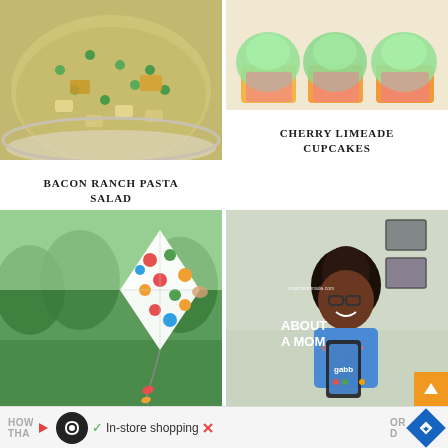[Figure (photo): Overhead photo of bacon ranch pasta salad in a bowl with peas, pasta, bacon, and croutons]
BACON RANCH PASTA SALAD
[Figure (photo): Close up of cherry limeade cupcakes with green frosting in pink wrappers]
CHERRY LIMEADE CUPCAKES
[Figure (photo): Person holding a colorful polka dot diamond kite in a green park]
[Figure (photo): Woman smiling holding a Gabb phone, with 'About a Mom' text overlay]
HOW ... OR THA... D  ✓ In-store shopping